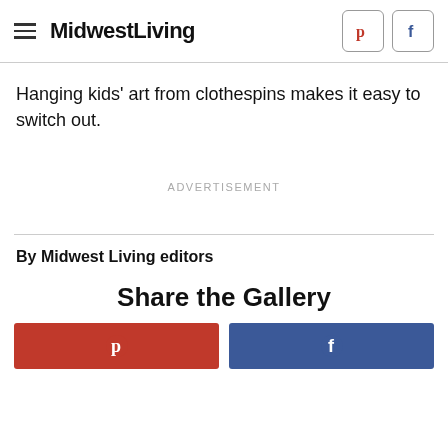MidwestLiving
Hanging kids' art from clothespins makes it easy to switch out.
ADVERTISEMENT
By Midwest Living editors
Share the Gallery